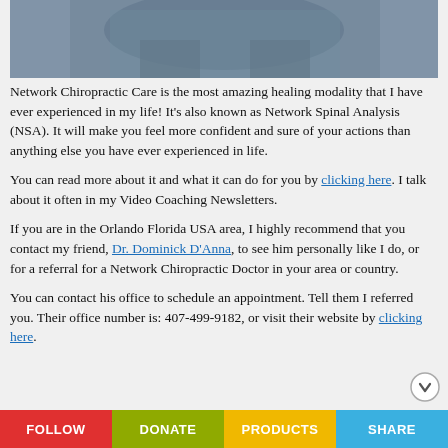[Figure (photo): Partial photo of a person (legs/lower body visible) sitting on a blue couch or chair, cropped at top of page]
Network Chiropractic Care is the most amazing healing modality that I have ever experienced in my life! It’s also known as Network Spinal Analysis (NSA). It will make you feel more confident and sure of your actions than anything else you have ever experienced in life.
You can read more about it and what it can do for you by clicking here. I talk about it often in my Video Coaching Newsletters.
If you are in the Orlando Florida USA area, I highly recommend that you contact my friend, Dr. Dominick D’Anna, to see him personally like I do, or for a referral for a Network Chiropractic Doctor in your area or country.
You can contact his office to schedule an appointment. Tell them I referred you. Their office number is: 407-499-9182, or visit their website by clicking here.
FOLLOW | DONATE | PRODUCTS | SHARE